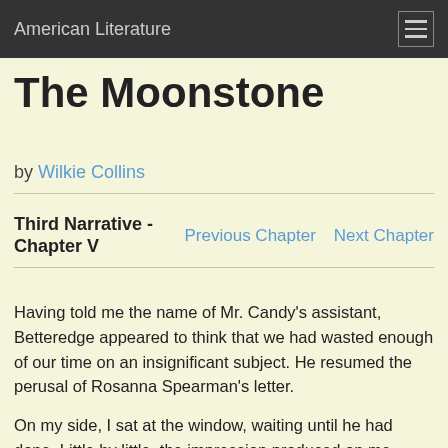American Literature
The Moonstone
by Wilkie Collins
Third Narrative - Chapter V
Previous Chapter   Next Chapter
Having told me the name of Mr. Candy's assistant, Betteredge appeared to think that we had wasted enough of our time on an insignificant subject. He resumed the perusal of Rosanna Spearman's letter.
On my side, I sat at the window, waiting until he had done. Little by little, the impression produced on me